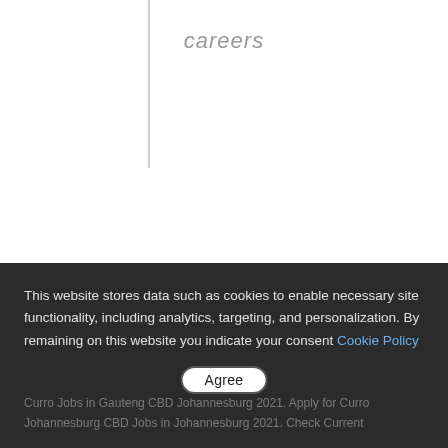careers
[Figure (logo): CURRO logo in dark navy blue serif font with double underline]
This website stores data such as cookies to enable necessary site functionality, including analytics, targeting, and personalization. By remaining on this website you indicate your consent Cookie Policy
Agree
Curro Jobs in Gauteng CBD Johannesburg 2021. Apply for Curro Johannesburg CBD Jobs in Johannesburg 2021. Check Current